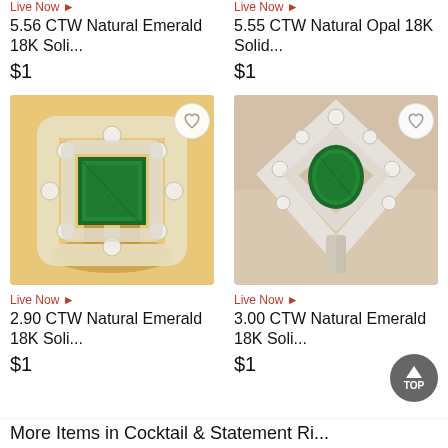Live Now ▶ 5.56 CTW Natural Emerald 18K Soli... $1
Live Now ▶ 5.55 CTW Natural Opal 18K Solid... $1
[Figure (photo): Gold ring with large square emerald center stone surrounded by double halo of diamonds]
[Figure (photo): Silver/white gold ring with oval emerald center stone surrounded by double halo of diamonds in kite shape]
Live Now ▶ 2.90 CTW Natural Emerald 18K Soli... $1
Live Now ▶ 3.00 CTW Natural Emerald 18K Soli... $1
More Items in Cocktail & Statement Ri...